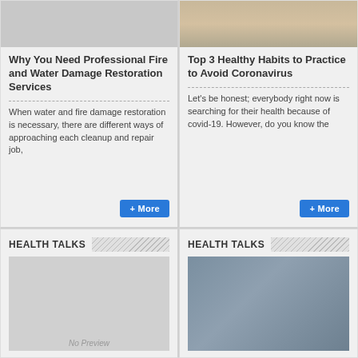[Figure (photo): Top portion of an image, light gray placeholder]
Why You Need Professional Fire and Water Damage Restoration Services
When water and fire damage restoration is necessary, there are different ways of approaching each cleanup and repair job,
[Figure (photo): Woman with blonde hair, partially visible at top]
Top 3 Healthy Habits to Practice to Avoid Coronavirus
Let's be honest; everybody right now is searching for their health because of covid-19. However, do you know the
HEALTH TALKS
[Figure (photo): No Preview placeholder image]
HEALTH TALKS
[Figure (photo): Two people in conversation, city view through window]